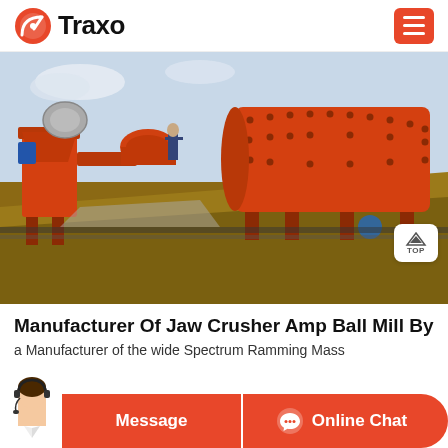Traxo
[Figure (photo): Industrial mining equipment scene with large orange ball mills and jaw crushers outdoors on a dirt excavation site, with a worker standing nearby.]
Manufacturer Of Jaw Crusher Amp Ball Mill By
a Manufacturer of the wide Spectrum Ramming Mass